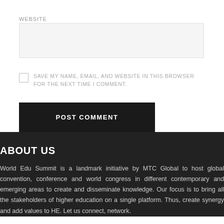WEBSITE
SAVE MY NAME, EMAIL, AND WEBSITE IN THIS BROWSER FOR THE NEXT TIME I COMMENT.
POST COMMENT
ABOUT US
World Edu Summit is a landmark initiative by MTC Global to host global convention, conference and world congress in different contemporary and emerging areas to create and disseminate knowledge. Our focus is to bring all the stakeholders of higher education on a single platform. Thus, create synergy and add values to HE. Let us connect, network.